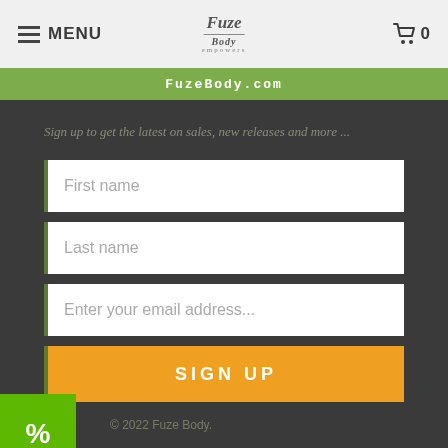MENU | Fuze Body | 0
FuzeBody.com
Sign up to get the latest on sales, new releases and more ...
First name
Last name
Enter your email address...
SIGN UP
© 2022 Fuze Body.